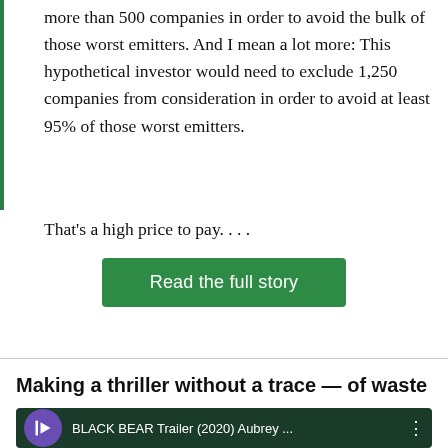more than 500 companies in order to avoid the bulk of those worst emitters. And I mean a lot more: This hypothetical investor would need to exclude 1,250 companies from consideration in order to avoid at least 95% of those worst emitters.
That's a high price to pay. . . .
[Figure (other): Green button labeled 'Read the full story']
Making a thriller without a trace — of waste
[Figure (screenshot): YouTube video thumbnail showing BLACK BEAR Trailer (2020) Aubrey ...]